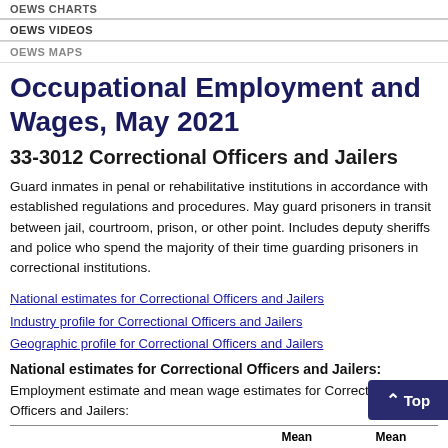OEWS CHARTS
OEWS VIDEOS
OEWS MAPS
Occupational Employment and Wages, May 2021
33-3012 Correctional Officers and Jailers
Guard inmates in penal or rehabilitative institutions in accordance with established regulations and procedures. May guard prisoners in transit between jail, courtroom, prison, or other point. Includes deputy sheriffs and police who spend the majority of their time guarding prisoners in correctional institutions.
National estimates for Correctional Officers and Jailers
Industry profile for Correctional Officers and Jailers
Geographic profile for Correctional Officers and Jailers
National estimates for Correctional Officers and Jailers:
Employment estimate and mean wage estimates for Correctional Officers and Jailers:
|  |  | Mean | Mean |
| --- | --- | --- | --- |